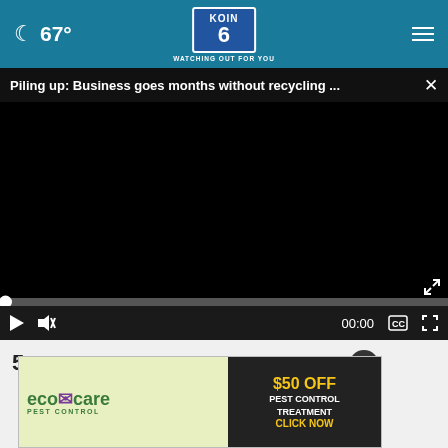🌙 67° | KOIN 6 | WATCHING OUT FOR YOU
Piling up: Business goes months without recycling ... ×
[Figure (screenshot): Black video player area with progress bar and controls showing 00:00]
5  Alaska Airlines plane loses eng...  p...
[Figure (infographic): EcoCare Pest Control advertisement banner: $50 OFF PEST CONTROL TREATMENT CLICK NOW]